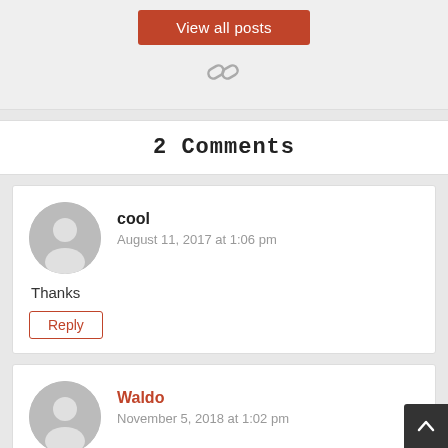[Figure (other): View all posts button (red/rust colored button with white text)]
[Figure (other): Chain link icon in gray]
2 Comments
[Figure (other): Generic user avatar circle for commenter 'cool']
cool
August 11, 2017 at 1:06 pm
Thanks
Reply
[Figure (other): Generic user avatar circle for commenter 'Waldo']
Waldo
November 5, 2018 at 1:02 pm
What's up friends, its enormous article regarding